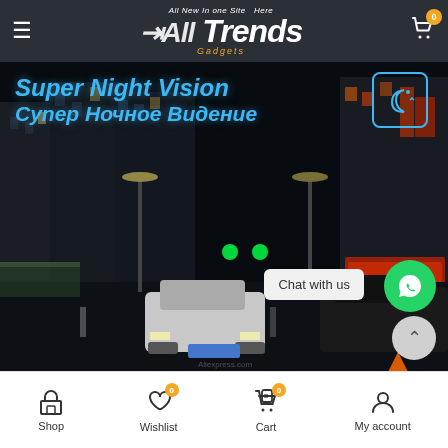All Trends Gadgets — navigation header with hamburger menu and cart icon
[Figure (screenshot): Night dashcam footage showing a city street at night with buildings, traffic lights, and cars. Overlaid text reads 'Super Night Vision / Супер Ночное Видение' in bold blue italic text, with a moon+stars icon in a rounded rectangle. A 'Chat with us' button and WhatsApp icon are visible, along with a scroll-to-top button.]
Shop | Wishlist (0) | Cart (0) | My account